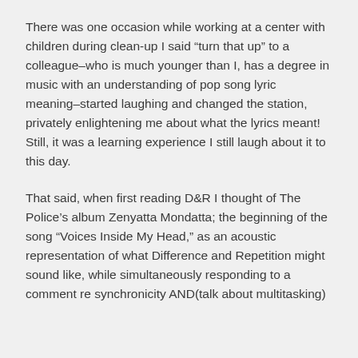There was one occasion while working at a center with children during clean-up I said “turn that up” to a colleague–who is much younger than I, has a degree in music with an understanding of pop song lyric meaning–started laughing and changed the station, privately enlightening me about what the lyrics meant! Still, it was a learning experience I still laugh about it to this day.
That said, when first reading D&R I thought of The Police’s album Zenyatta Mondatta; the beginning of the song “Voices Inside My Head,” as an acoustic representation of what Difference and Repetition might sound like, while simultaneously responding to a comment re synchronicity AND(talk about multitasking)